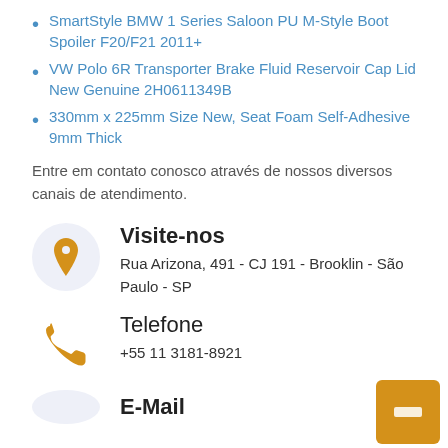SmartStyle BMW 1 Series Saloon PU M-Style Boot Spoiler F20/F21 2011+
VW Polo 6R Transporter Brake Fluid Reservoir Cap Lid New Genuine 2H0611349B
330mm x 225mm Size New, Seat Foam Self-Adhesive 9mm Thick
Entre em contato conosco através de nossos diversos canais de atendimento.
Visite-nos
Rua Arizona, 491 - CJ 191 - Brooklin - São Paulo - SP
Telefone
+55 11 3181-8921
E-Mail